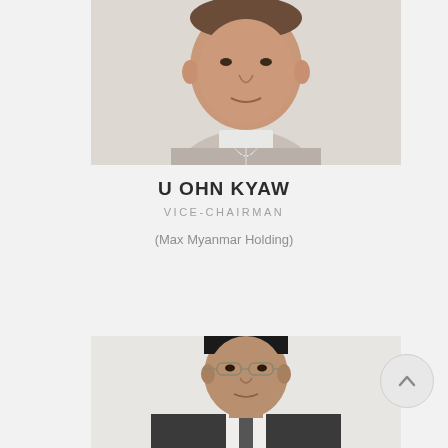[Figure (photo): Portrait photo of U Ohn Kyaw, a middle-aged man wearing a light grey traditional Myanmar shirt (collarless), cropped to show from chest up, photographed against a light background.]
U OHN KYAW
VICE-CHAIRMAN
(Max Myanmar Holding)
[Figure (photo): Portrait photo of another individual, a man with dark hair and glasses, wearing a dark suit. Photo shows head and upper shoulders against a light background.]